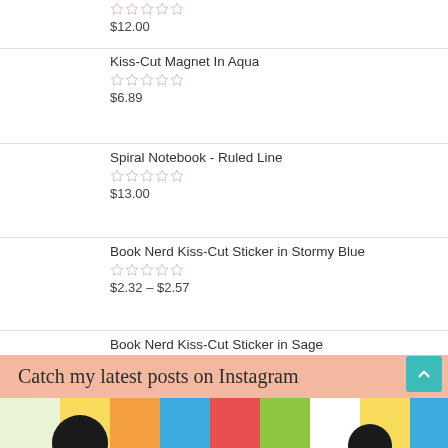$12.00
Kiss-Cut Magnet In Aqua
$6.89
Spiral Notebook - Ruled Line
$13.00
Book Nerd Kiss-Cut Sticker in Stormy Blue
$2.32 – $2.57
Book Nerd Kiss-Cut Sticker in Sage
$2.32 – $2.57
Catch my latest posts on Instagram
[Figure (photo): Colorful Instagram photo strip at the bottom of the page]